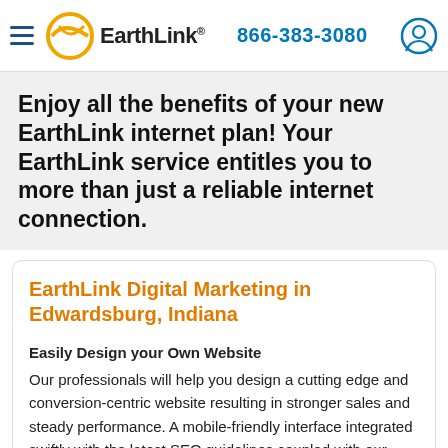EarthLink | 866-383-3080
Enjoy all the benefits of your new EarthLink internet plan! Your EarthLink service entitles you to more than just a reliable internet connection.
EarthLink Digital Marketing in Edwardsburg, Indiana
Easily Design your Own Website
Our professionals will help you design a cutting edge and conversion-centric website resulting in stronger sales and steady performance. A mobile-friendly interface integrated swiftly with the latest SEO guidelines coupled with our relentless hard work and creativity to give your